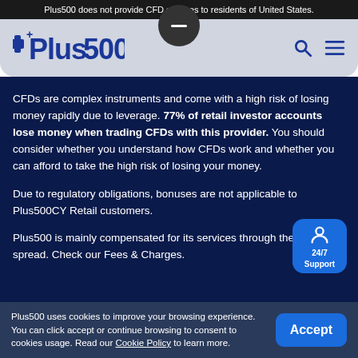Plus500 does not provide CFD services to residents of United States.
[Figure (logo): Plus500 logo with blue cross and bold Plus500 text, navigation icons (search, hamburger menu) on right, minimize button at top center]
CFDs are complex instruments and come with a high risk of losing money rapidly due to leverage. 77% of retail investor accounts lose money when trading CFDs with this provider. You should consider whether you understand how CFDs work and whether you can afford to take the high risk of losing your money.
Due to regulatory obligations, bonuses are not applicable to Plus500CY Retail customers.
Plus500 is mainly compensated for its services through the Bid/Ask spread. Check our Fees & Charges.
Plus500 uses cookies to improve your browsing experience. You can click accept or continue browsing to consent to cookies usage. Read our Cookie Policy to learn more.